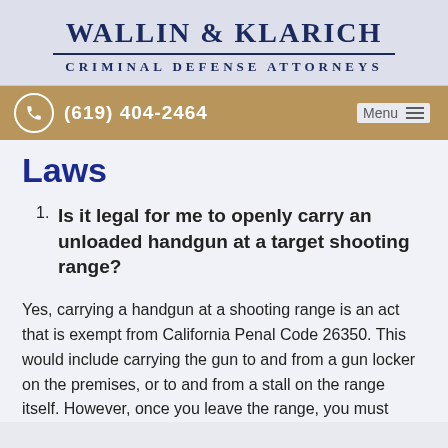[Figure (logo): Wallin & Klarich Criminal Defense Attorneys firm logo with firm name and tagline]
(619) 404-2464  Menu
Laws
Is it legal for me to openly carry an unloaded handgun at a target shooting range?
Yes, carrying a handgun at a shooting range is an act that is exempt from California Penal Code 26350. This would include carrying the gun to and from a gun locker on the premises, or to and from a stall on the range itself. However, once you leave the range, you must